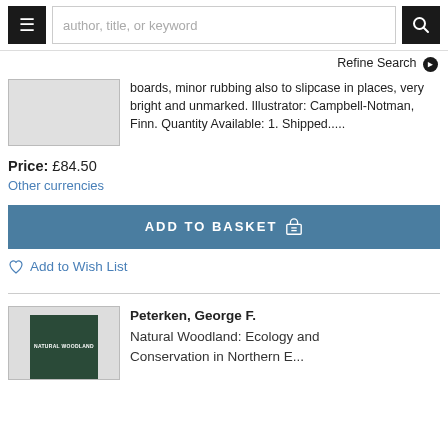author, title, or keyword
Refine Search
boards, minor rubbing also to slipcase in places, very bright and unmarked. Illustrator: Campbell-Notman, Finn. Quantity Available: 1. Shipped.....
Price: £84.50
Other currencies
ADD TO BASKET
Add to Wish List
Peterken, George F.
Natural Woodland: Ecology and Conservation in Northern E...